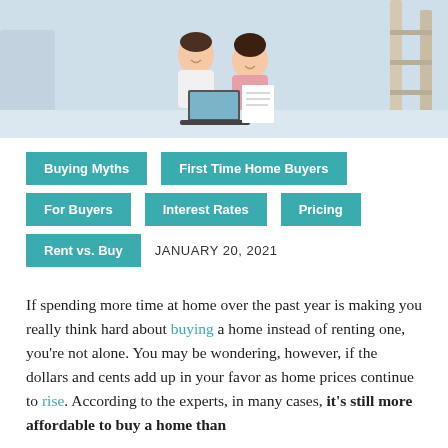[Figure (photo): A couple sitting on the floor of a home under renovation, looking at a laptop and papers together. The background shows light blue/grey walls and a ladder.]
Buying Myths
First Time Home Buyers
For Buyers
Interest Rates
Pricing
Rent vs. Buy
JANUARY 20, 2021
If spending more time at home over the past year is making you really think hard about buying a home instead of renting one, you're not alone. You may be wondering, however, if the dollars and cents add up in your favor as home prices continue to rise. According to the experts, in many cases, it's still more affordable to buy a home than